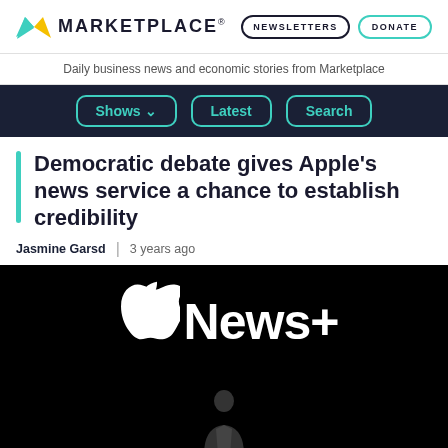MARKETPLACE®
Daily business news and economic stories from Marketplace
[Figure (screenshot): Navigation bar with Shows, Latest, Search buttons on dark background]
Democratic debate gives Apple's news service a chance to establish credibility
Jasmine Garsd | 3 years ago
[Figure (photo): Apple News+ logo on black background with a person standing below it on a dark stage]